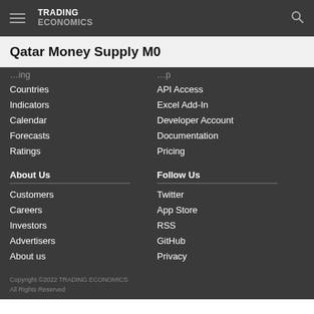TRADING ECONOMICS
Qatar Money Supply M0
Countries
API Access
Indicators
Excel Add-In
Calendar
Developer Account
Forecasts
Documentation
Ratings
Pricing
About Us
Follow Us
Customers
Twitter
Careers
App Store
Investors
RSS
Advertisers
GitHub
About us
Privacy
Copyright ©2022 TRADING ECONOMICS
All Rights Reserved